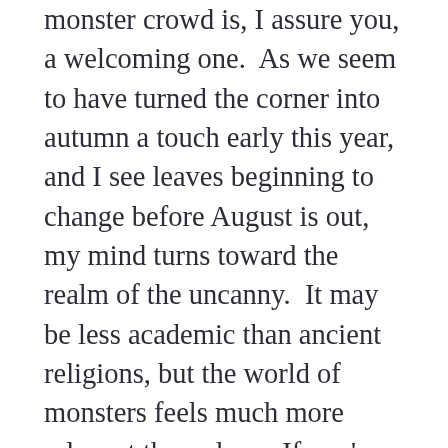monster crowd is, I assure you, a welcoming one.  As we seem to have turned the corner into autumn a touch early this year, and I see leaves beginning to change before August is out, my mind turns toward the realm of the uncanny.  It may be less academic than ancient religions, but the world of monsters feels much more relevant these days.  If you're a researcher in these realms I'll be glad to send you a call for